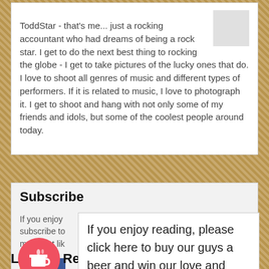ToddStar - that's me... just a rocking accountant who had dreams of being a rock star. I get to do the next best thing to rocking the globe - I get to take pictures of the lucky ones that do. I love to shoot all genres of music and different types of performers. If it is related to music, I love to photograph it. I get to shoot and hang with not only some of my friends and idols, but some of the coolest people around today.
Subscribe

If you enjoy reading, please subscribe to more just like this.
If you enjoy reading, please click here to buy our guys a beer and win our love and respect forever - You rock!
[Figure (illustration): Red circular button with a coffee cup icon (Buy Me a Coffee widget)]
Leave a Reply